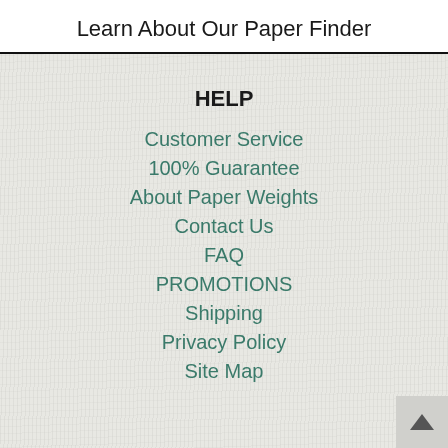Learn About Our Paper Finder
HELP
Customer Service
100% Guarantee
About Paper Weights
Contact Us
FAQ
PROMOTIONS
Shipping
Privacy Policy
Site Map